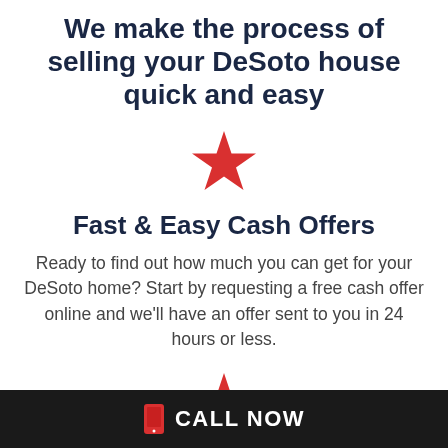We make the process of selling your DeSoto house quick and easy
[Figure (illustration): Red star icon decorative divider]
Fast & Easy Cash Offers
Ready to find out how much you can get for your DeSoto home? Start by requesting a free cash offer online and we'll have an offer sent to you in 24 hours or less.
[Figure (illustration): Red star icon decorative divider]
CALL NOW